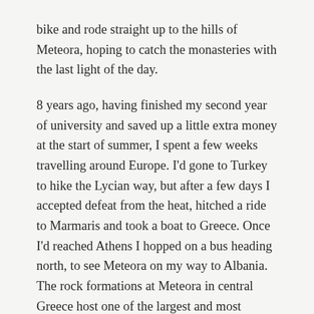bike and rode straight up to the hills of Meteora, hoping to catch the monasteries with the last light of the day.
8 years ago, having finished my second year of university and saved up a little extra money at the start of summer, I spent a few weeks travelling around Europe. I'd gone to Turkey to hike the Lycian way, but after a few days I accepted defeat from the heat, hitched a ride to Marmaris and took a boat to Greece. Once I'd reached Athens I hopped on a bus heading north, to see Meteora on my way to Albania. The rock formations at Meteora in central Greece host one of the largest and most precipitously built complexes of Eastern Orthodox monasteries in the world. I've told this story before on the blog, but it was while hiking around the monasteries that I met Heike – a german woman cycling on her way to Australia by bike. I'd never heard of anyone travelling by bicycle before and it blew my mind. Heike's story made such a great impression on me that